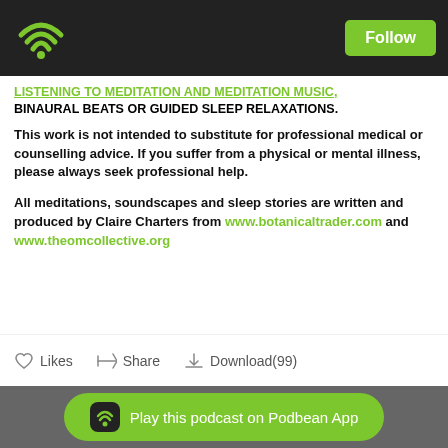Follow
LISTENING TO MEDITATION AND MEDITATION MUSIC, BINAURAL BEATS OR GUIDED SLEEP RELAXATIONS.
This work is not intended to substitute for professional medical or counselling advice. If you suffer from a physical or mental illness, please always seek professional help.
All meditations, soundscapes and sleep stories are written and produced by Claire Charters from www.botanicaltrader.com and www.theomcollective.org
Likes  Share  Download(99)
Play this podcast on Podbean App